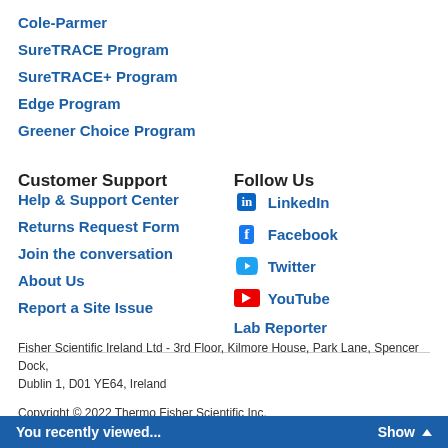Cole-Parmer
SureTRACE Program
SureTRACE+ Program
Edge Program
Greener Choice Program
Customer Support
Follow Us
Help & Support Center
LinkedIn
Returns Request Form
Facebook
Join the conversation
Twitter
About Us
YouTube
Report a Site Issue
Lab Reporter
Fisher Scientific Ireland Ltd - 3rd Floor, Kilmore House, Park Lane, Spencer Dock, Dublin 1, D01 YE64, Ireland
Copyright © 2022 Thermo Fisher Scientific Inc.
You recently viewed... Show